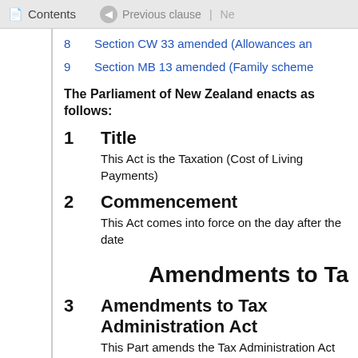Contents | Previous clause
8   Section CW 33 amended (Allowances and...)
9   Section MB 13 amended (Family scheme...)
The Parliament of New Zealand enacts as follows:
1   Title
This Act is the Taxation (Cost of Living Payments)...
2   Commencement
This Act comes into force on the day after the date...
Amendments to Ta...
3   Amendments to Tax Administration Act...
This Part amends the Tax Administration Act 1994...
4   Section 3 amended (Interpretation)